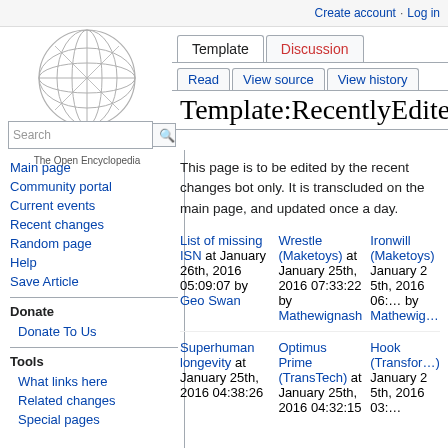Create account  Log in
[Figure (logo): WikiAlpha globe logo — wireframe sphere with geometric lines]
Template:RecentlyEdite
WikiAlpha
The Open Encyclopedia
Read
View source
View history
Template
Discussion
Main page
Community portal
Current events
Recent changes
Random page
Help
Save Article
Donate To Us
What links here
Related changes
Special pages
This page is to be edited by the recent changes bot only. It is transcluded on the main page, and updated once a day.
| List of missing ISN at January 26th, 2016 05:09:07 by Geo Swan | Wrestle (Maketoys) at January 25th, 2016 07:33:22 by Mathewignash | Ironwill (Maketoys) January 25th, 2016 06:… by Mathewig… |
| Superhuman longevity at January 25th, 2016 04:38:26 | Optimus Prime (TransTech) at January 25th, 2016 04:32:15 | Hook (Transformers) January 25th, 2016 03:… |